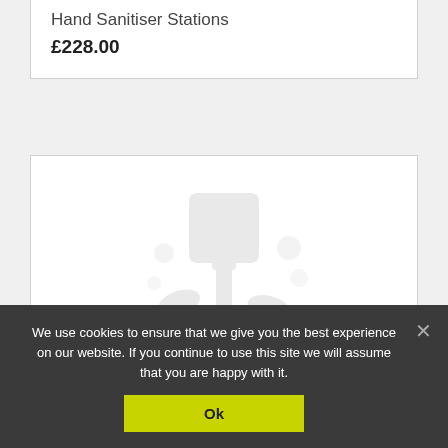Hand Sanitiser Stations
£228.00
[Figure (photo): Product image placeholder showing faint watermark/logo of hand sanitiser stations product]
We use cookies to ensure that we give you the best experience on our website. If you continue to use this site we will assume that you are happy with it.
Ok